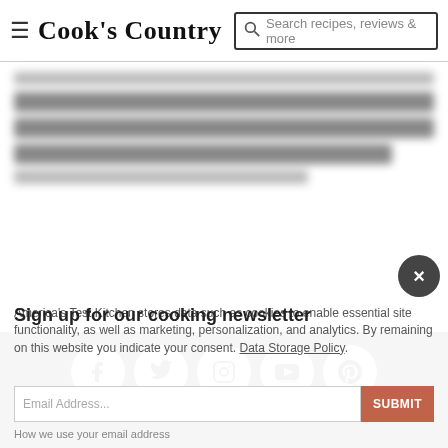Cook's Country — Search recipes, reviews & more
[Figure (screenshot): Blurred/redacted article text content area]
[Figure (infographic): Social media icons row: Facebook, Twitter, Instagram, YouTube, Pinterest — white circles on dark grey background]
America's Test Kitchen stores data such as cookies to enable essential site functionality, as well as marketing, personalization, and analytics. By remaining on this website you indicate your consent. Data Storage Policy
Sign up for our cooking newsletter
Email Address...
SUBMIT
How we use your email address